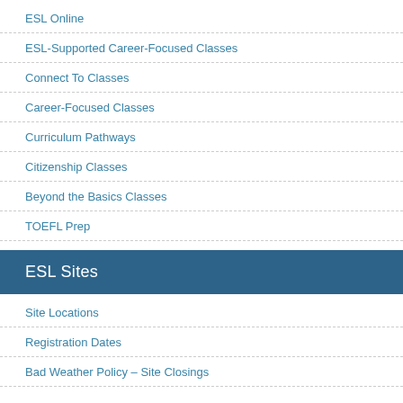ESL Online
ESL-Supported Career-Focused Classes
Connect To Classes
Career-Focused Classes
Curriculum Pathways
Citizenship Classes
Beyond the Basics Classes
TOEFL Prep
ESL Sites
Site Locations
Registration Dates
Bad Weather Policy – Site Closings